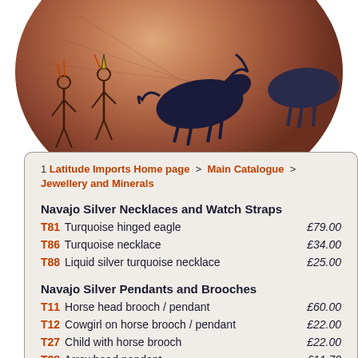[Figure (illustration): Decorative circular drum with Native American artwork showing horses and figures painted on leather surface]
1 Latitude Imports Home page > Main Catalogue > Jewellery and Minerals
Navajo Silver Necklaces and Watch Straps
T81 Turquoise hinged eagle £79.00
T86 Turquoise necklace £34.00
T88 Liquid silver turquoise necklace £25.00
Navajo Silver Pendants and Brooches
T11 Horse head brooch / pendant £60.00
T12 Cowgirl on horse brooch / pendant £22.00
T27 Child with horse brooch £22.00
T28 Arrowhead pendant £11.70
T42 Wolf pendant with Turquoise £55.00
T45 Turquoise claw pendant £80.00
T91 Bear paw pendant £17.20
T92 Turquoise and coral pendant £60.00
T93 Turquoise pendant £36.00
T95 Turquoise and shell feather pendant £50.00
T97 Small cross with turquoise £33.50